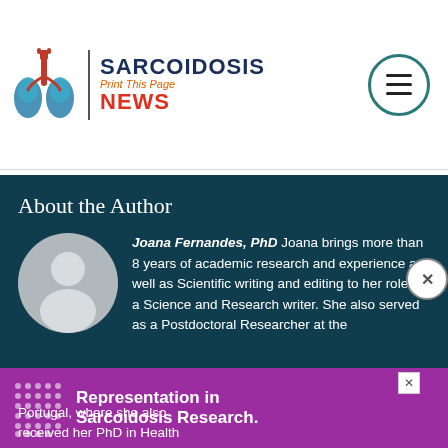SARCOIDOSIS NEWS | Print This Page
About the Author
[Figure (illustration): Gray circular avatar placeholder with silhouette of a person]
Joana Fernandes, PhD Joana brings more than 8 years of academic research and experience as well as Scientific writing and editing to her role as a Science and Research writer. She also served as a Postdoctoral Researcher at the Portugal, where she also received her PhD in Health
[Figure (infographic): Purple advertisement banner reading 'Representation in Sarcoidosis Research.' with a dot pattern logo on the left and a close button on the upper right]